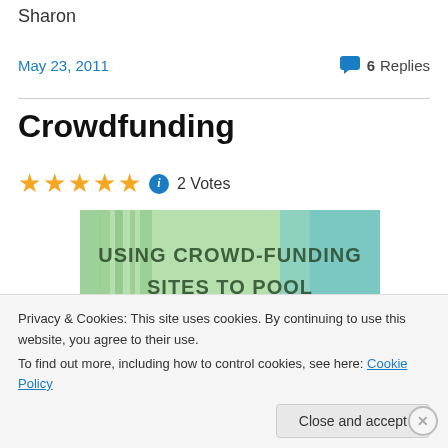Sharon
May 23, 2011   6 Replies
Crowdfunding
★★★★★ ⓘ 2 Votes
[Figure (photo): Banner image with text: USING CROWD-FUNDING SITES TO POOL MONEY TOGETHER! on a green and blue background]
Privacy & Cookies: This site uses cookies. By continuing to use this website, you agree to their use.
To find out more, including how to control cookies, see here: Cookie Policy
Close and accept